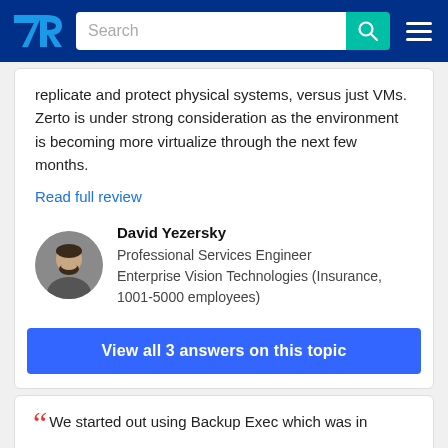TrustRadius — Search bar with navigation
replicate and protect physical systems, versus just VMs. Zerto is under strong consideration as the environment is becoming more virtualize through the next few months.
Read full review
David Yezersky
Professional Services Engineer
Enterprise Vision Technologies (Insurance, 1001-5000 employees)
View all 3 answers on this topic
We started out using Backup Exec which was in